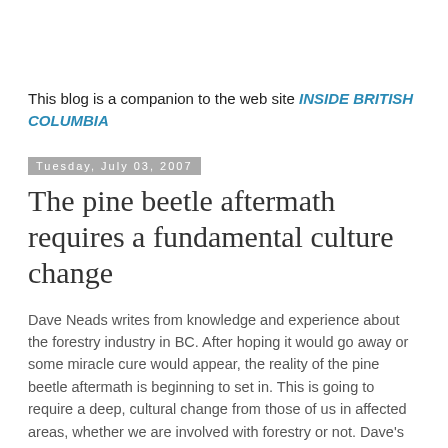This blog is a companion to the web site INSIDE BRITISH COLUMBIA
Tuesday, July 03, 2007
The pine beetle aftermath requires a fundamental culture change
Dave Neads writes from knowledge and experience about the forestry industry in BC. After hoping it would go away or some miracle cure would appear, the reality of the pine beetle aftermath is beginning to set in. This is going to require a deep, cultural change from those of us in affected areas, whether we are involved with forestry or not. Dave's article provides a welcome perspective. (The photo is mine - taken today in my backyard).